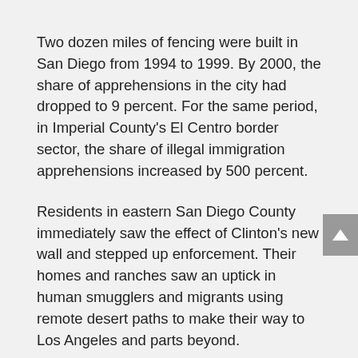Two dozen miles of fencing were built in San Diego from 1994 to 1999. By 2000, the share of apprehensions in the city had dropped to 9 percent. For the same period, in Imperial County's El Centro border sector, the share of illegal immigration apprehensions increased by 500 percent.
Residents in eastern San Diego County immediately saw the effect of Clinton's new wall and stepped up enforcement. Their homes and ranches saw an uptick in human smugglers and migrants using remote desert paths to make their way to Los Angeles and parts beyond.
“Before Operation Gatekeeper, it was